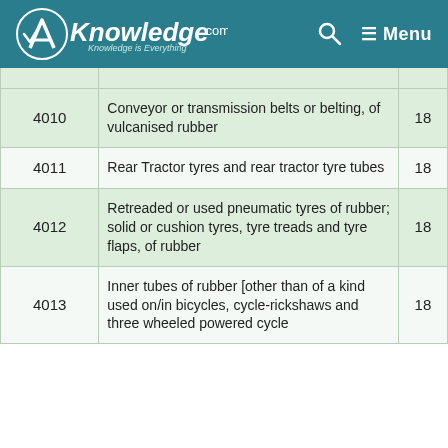AKnowledge.com — Menu
| Code | Description | Rate |
| --- | --- | --- |
| 4010 | Conveyor or transmission belts or belting, of vulcanised rubber | 18 |
| 4011 | Rear Tractor tyres and rear tractor tyre tubes | 18 |
| 4012 | Retreaded or used pneumatic tyres of rubber; solid or cushion tyres, tyre treads and tyre flaps, of rubber | 18 |
| 4013 | Inner tubes of rubber [other than of a kind used on/in bicycles, cycle-rickshaws and three wheeled powered cycle | 18 |